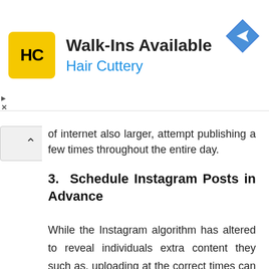[Figure (other): Hair Cuttery advertisement banner with logo, 'Walk-Ins Available' headline, 'Hair Cuttery' subtitle in blue, and navigation/map icon on the right]
of internet also larger, attempt publishing a few times throughout the entire day.
3. Schedule Instagram Posts in Advance
While the Instagram algorithm has altered to reveal individuals extra content they such as, uploading at the correct times can still offer your posts a lot more exposure.
There's a lot your brand can do, and also now with